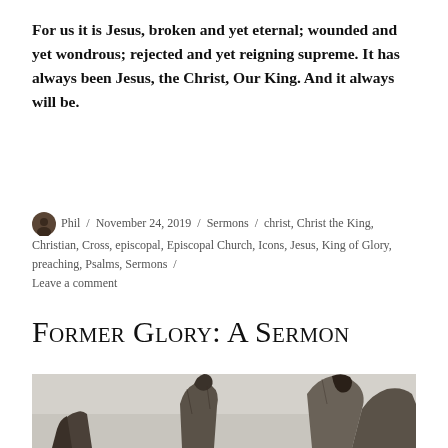For us it is Jesus, broken and yet eternal; wounded and yet wondrous; rejected and yet reigning supreme. It has always been Jesus, the Christ, Our King. And it always will be.
Phil / November 24, 2019 / Sermons / christ, Christ the King, Christian, Cross, episcopal, Episcopal Church, Icons, Jesus, King of Glory, preaching, Psalms, Sermons / Leave a comment
Former Glory: A Sermon
[Figure (photo): A dark bronze or stone sculpture photographed against a grey/white sky, showing figures with dramatic textures — appears to be a monumental outdoor sculpture with human or religious figures.]